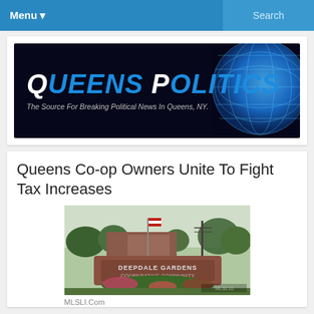Menu  Search
[Figure (logo): Queens Politics logo — dark background with blue globe graphic, bold italic blue text reading QUEENS POLITICS, subtitle: The Source For Breaking Political News In Queens, NY.]
Queens Co-op Owners Unite To Fight Tax Increases
[Figure (photo): Photograph of the Deepdale Gardens Cooperative Community entrance sign surrounded by flower gardens and trees]
MLSLI.Com